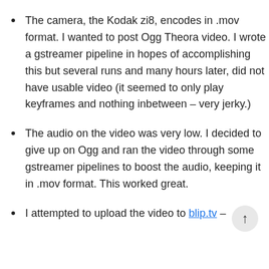The camera, the Kodak zi8, encodes in .mov format. I wanted to post Ogg Theora video. I wrote a gstreamer pipeline in hopes of accomplishing this but several runs and many hours later, did not have usable video (it seemed to only play keyframes and nothing inbetween – very jerky.)
The audio on the video was very low. I decided to give up on Ogg and ran the video through some gstreamer pipelines to boost the audio, keeping it in .mov format. This worked great.
I attempted to upload the video to blip.tv –